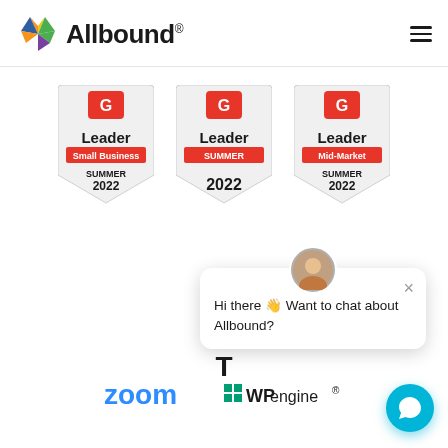[Figure (logo): Allbound logo with colorful star icon and bold 'Allbound' text with registered trademark symbol]
[Figure (other): G2 Leader Small Business Summer 2022 badge]
[Figure (other): G2 Leader Summer 2022 badge]
[Figure (other): G2 Leader Mid-Market Summer 2022 badge]
Hi there 👋 Want to chat about Allbound?
Bra... T...
[Figure (logo): Zoom logo in blue]
[Figure (logo): WP Engine logo]